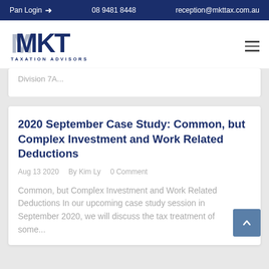Pan Login → | 08 9481 8448 | reception@mkttax.com.au
[Figure (logo): MKT Taxation Advisors logo — bold dark blue letters MKT with grey M shadow, subtitle TAXATION ADVISORS]
Division 7A...
2020 September Case Study: Common, but Complex Investment and Work Related Deductions
Aug 13 2020   By Kim Ly   0 Comment
Common, but Complex Investment and Work Related Deductions In our upcoming case study session in September 2020, we will discuss the tax treatment of some...